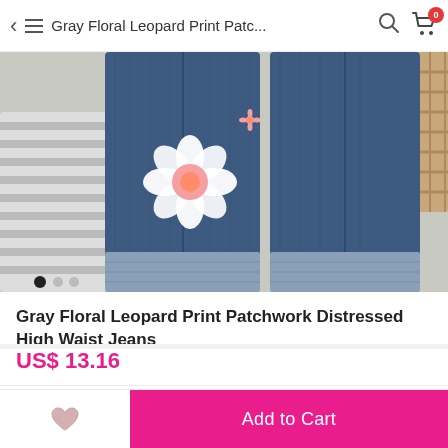Gray Floral Leopard Print Patc...
[Figure (photo): Product photo of gray floral leopard print patchwork distressed high waist jeans with white floral print on denim, cuffed at the bottom, laid flat on a light surface with a striped fabric and woven basket visible at edges.]
Gray Floral Leopard Print Patchwork Distressed High Waist Jeans
US$ 13.16
Color/Size   Please Select
Add to Cart